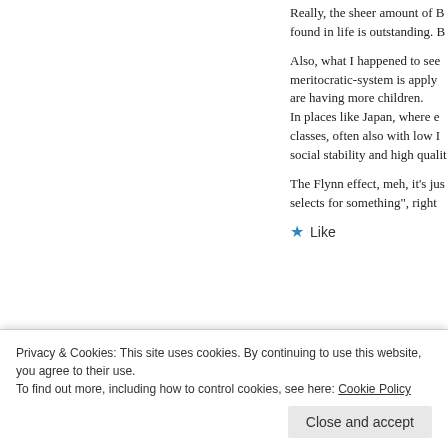Really, the sheer amount of B found in life is outstanding. B
Also, what I happened to see meritocratic-system is apply are having more children. In places like Japan, where e classes, often also with low I social stability and high qualit
The Flynn effect, meh, it's jus selects for something", right
★ Like
Afrosanie
Privacy & Cookies: This site uses cookies. By continuing to use this website, you agree to their use.
To find out more, including how to control cookies, see here: Cookie Policy
Close and accept